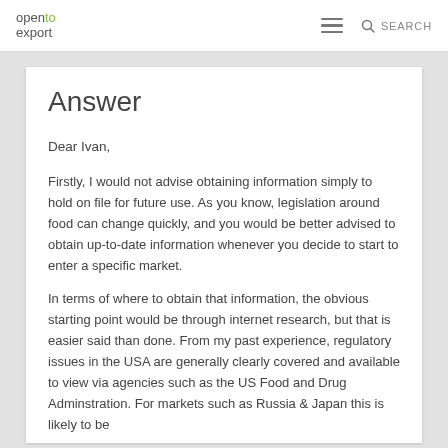open to export  SEARCH
Answer
Dear Ivan,
Firstly, I would not advise obtaining information simply to hold on file for future use. As you know, legislation around food can change quickly, and you would be better advised to obtain up-to-date information whenever you decide to start to enter a specific market.
In terms of where to obtain that information, the obvious starting point would be through internet research, but that is easier said than done. From my past experience, regulatory issues in the USA are generally clearly covered and available to view via agencies such as the US Food and Drug Adminstration. For markets such as Russia & Japan this is likely to be